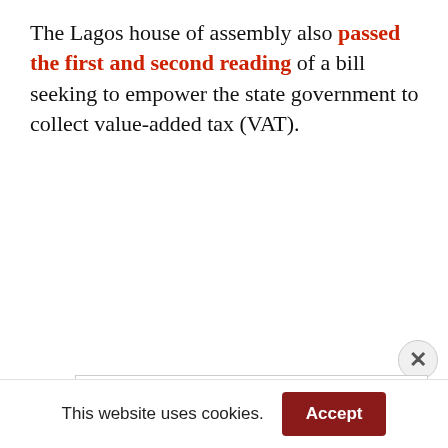The Lagos house of assembly also passed the first and second reading of a bill seeking to empower the state government to collect value-added tax (VAT).
[Figure (other): Close button (X) overlay circle in top-right area]
[Figure (other): Advertisement banner: 'Tax expertise you can trust' with AdChoices icon and close icon, above a blue horizontal rule]
This website uses cookies.
Accept